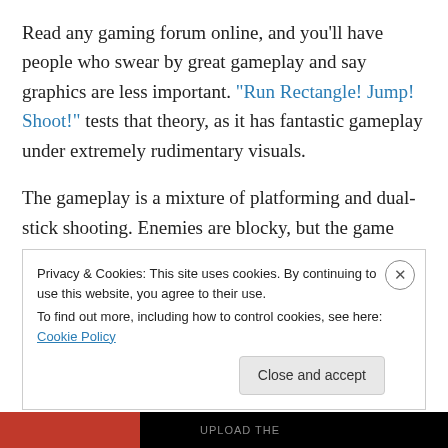Read any gaming forum online, and you'll have people who swear by great gameplay and say graphics are less important. "Run Rectangle! Jump! Shoot!" tests that theory, as it has fantastic gameplay under extremely rudimentary visuals.
The gameplay is a mixture of platforming and dual-stick shooting. Enemies are blocky, but the game still has a lot of neat ideas such as minecarts, rails to climb, and much more, all paired up with the ever-present twin-stick shooter
Privacy & Cookies: This site uses cookies. By continuing to use this website, you agree to their use. To find out more, including how to control cookies, see here: Cookie Policy
Close and accept